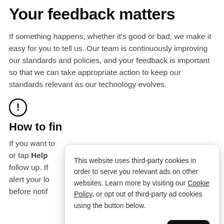Your feedback matters
If something happens, whether it's good or bad, we make it easy for you to tell us. Our team is continuously improving our standards and policies, and your feedback is important so that we can take appropriate action to keep our standards relevant as our technology evolves.
[Figure (illustration): Circle icon with exclamation mark (!) inside, used as a warning or information indicator]
How to fin
If you want to or tap Help follow up. If alert your lo before notif
This website uses third-party cookies in order to serve you relevant ads on other websites. Learn more by visiting our Cookie Policy, or opt out of third-party ad cookies using the button below.